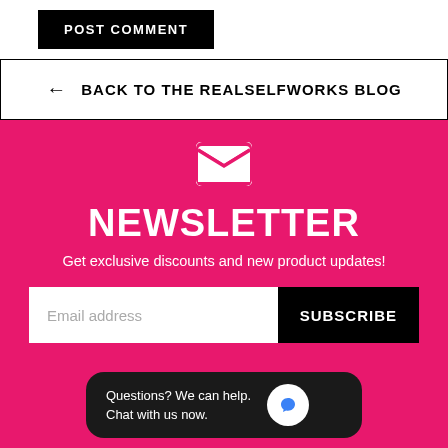POST COMMENT
← BACK TO THE REALSELFWORKS BLOG
NEWSLETTER
Get exclusive discounts and new product updates!
Email address
SUBSCRIBE
Questions? We can help. Chat with us now.